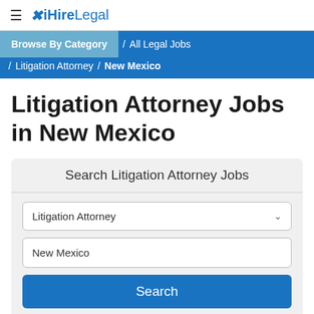≡  iHireLegal
Browse By Category / All Legal Jobs / Litigation Attorney / New Mexico
Litigation Attorney Jobs in New Mexico
Search Litigation Attorney Jobs
Litigation Attorney
New Mexico
Search